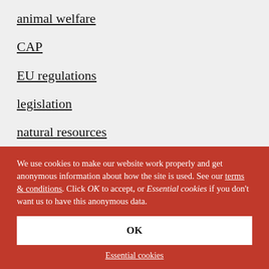animal welfare
CAP
EU regulations
legislation
natural resources
resource conservation
rural development
We use cookies to make our website work properly and get anonymous information about how the site is used. See our terms & conditions. Click OK to accept, or Essential cookies if you don't want us to have this anonymous data.
OK
Essential cookies